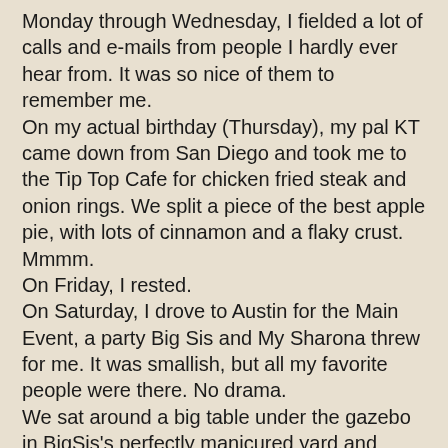Monday through Wednesday, I fielded a lot of calls and e-mails from people I hardly ever hear from. It was so nice of them to remember me.
On my actual birthday (Thursday), my pal KT came down from San Diego and took me to the Tip Top Cafe for chicken fried steak and onion rings. We split a piece of the best apple pie, with lots of cinnamon and a flaky crust. Mmmm.
On Friday, I rested.
On Saturday, I drove to Austin for the Main Event, a party Big Sis and My Sharona threw for me. It was smallish, but all my favorite people were there. No drama.
We sat around a big table under the gazebo in BigSis's perfectly manicured yard and played Name That Tune with our iPods in a little dock with speakers.
Get a load of the food, catered by Whole Foods flagship store in Austin:
-Endive leaves stuffed with goat cheese, black mission figs and pecans
-Mini polenta cakes with shrimp and topped with corn chow-chow
-Gingered tempura asparagus with an Asian dipping sauce
-Mini baked potatoes stuffed with greyere and bacon, with